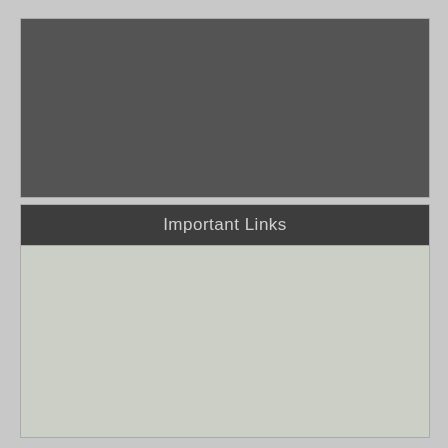[Figure (other): Dark gray rectangular panel, empty content area]
Important Links
[Figure (other): Light gray-green content area below Important Links header, empty]